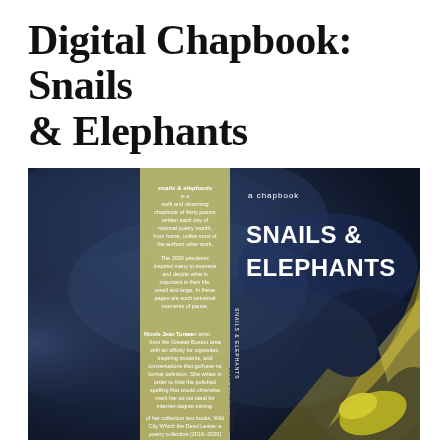Digital Chapbook: Snails & Elephants
[Figure (photo): Book cover image for 'Snails & Elephants' chapbook. The cover shows a dark blue/navy clouded abstract background with a yellow-green vertical spine panel on the left side containing descriptive text about the book in small white font, and the right side showing 'a chapbook' in small text above large white bold text reading 'SNAILS & ELEPHANTS'. The back cover spine panel contains author bio text and publisher information. The overall image is the front and back cover of the physical chapbook.]